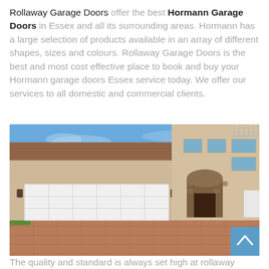Rollaway Garage Doors offer the best Hormann Garage Doors in Essex and all its surrounding areas. Hormann has a large selection of products available in an array of different shapes, sizes and colours. Rollaway Garage Doors is the best and most cost effective place to book and buy your Hormann garage doors Essex service today. We offer our services to all domestic and commercial clients.
[Figure (photo): Exterior photo of a house with a large white sectional garage door, brick and stucco facade, tile roof, under a blue sky. A scroll-up button appears in the bottom-right corner of the image.]
The quality and standard is always set high at rollaway